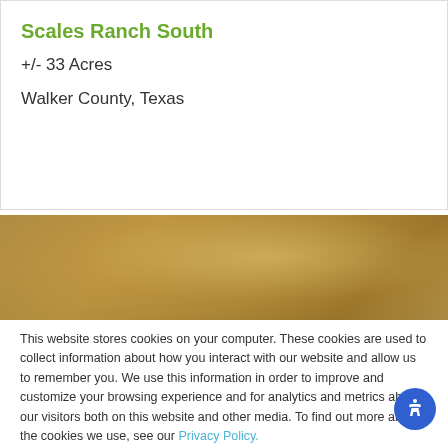Scales Ranch South
+/- 33 Acres
Walker County, Texas
[Figure (photo): Landscape photo strip showing an outdoor scene with warm golden/amber tones, partially obscured by a cookie consent overlay]
This website stores cookies on your computer. These cookies are used to collect information about how you interact with our website and allow us to remember you. We use this information in order to improve and customize your browsing experience and for analytics and metrics about our visitors both on this website and other media. To find out more about the cookies we use, see our Privacy Policy.
If you decline, your information won't be tracked when you visit this website. A single cookie will be used in your browser to remember your preference not to be tracked.